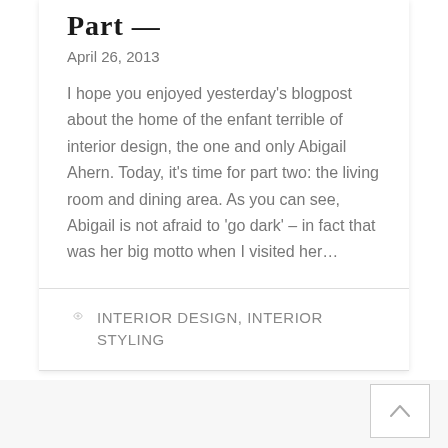Part —
April 26, 2013
I hope you enjoyed yesterday's blogpost about the home of the enfant terrible of interior design, the one and only Abigail Ahern. Today, it's time for part two: the living room and dining area. As you can see, Abigail is not afraid to 'go dark' – in fact that was her big motto when I visited her...
INTERIOR DESIGN, INTERIOR STYLING